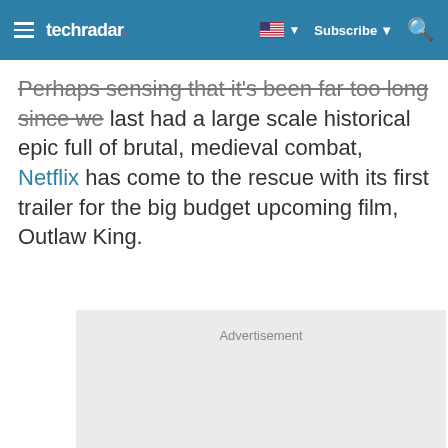techradar | Subscribe
Perhaps sensing that it's been far too long since we last had a large scale historical epic full of brutal, medieval combat, Netflix has come to the rescue with its first trailer for the big budget upcoming film, Outlaw King.
[Figure (other): Advertisement placeholder box with light grey background]